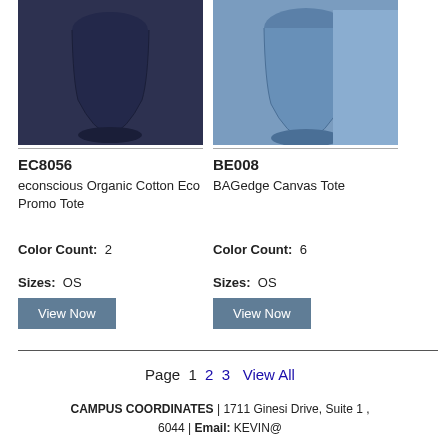[Figure (photo): Dark navy tote bag product photo (EC8056)]
[Figure (photo): Blue canvas tote bag product photo (BE008), partially cropped]
EC8056
econscious Organic Cotton Eco Promo Tote
Color Count:  2
Sizes:  OS
View Now
BE008
BAGedge Canvas Tote
Color Count:  6
Sizes:  OS
View Now
Page  1  2  3  View All
CAMPUS COORDINATES | 1711 Ginesi Drive, Suite 1 ,  6044 | Email: KEVIN@